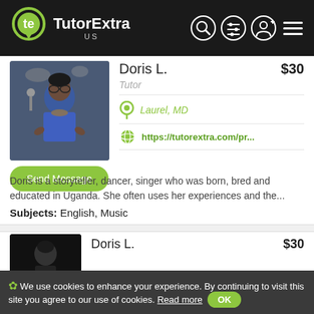TutorExtra US
Doris L. $30
Tutor
Laurel, MD
https://tutorextra.com/pr...
Send Message
Doris is a storyteller, dancer, singer who was born, bred and educated in Uganda. She often uses her experiences and the...
Subjects: English, Music
Doris L. $30
We use cookies to enhance your experience. By continuing to visit this site you agree to our use of cookies. Read more OK